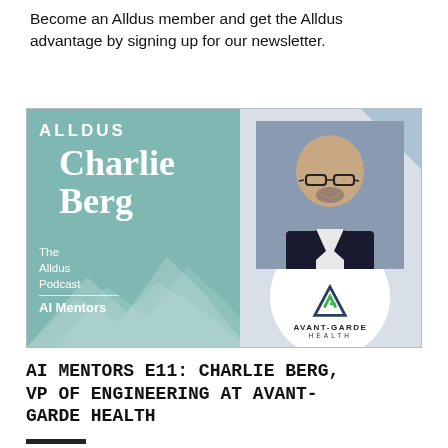Become an Alldus member and get the Alldus advantage by signing up for our newsletter.
[Figure (illustration): Alldus Podcast promotional card featuring Charlie Berg, VP of Engineering at Avant-Garde Health. Left side has teal background with mountain imagery, ALLDUS logo, name 'Charlie Berg', The Alldus Podcast, AI Mentors label. Right side shows a professional headshot of a bald man with glasses and a beard in a dark suit, plus the Avant-Garde Health logo.]
AI MENTORS E11: CHARLIE BERG, VP OF ENGINEERING AT AVANT-GARDE HEALTH